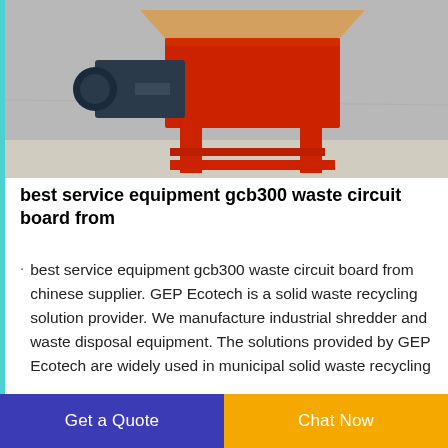[Figure (photo): Industrial waste circuit board shredder/recycling machine with red metal frame and motor, photographed against a grey concrete wall background.]
best service equipment gcb300 waste circuit board from
best service equipment gcb300 waste circuit board from chinese supplier. GEP Ecotech is a solid waste recycling solution provider. We manufacture industrial shredder and waste disposal equipment. The solutions provided by GEP Ecotech are widely used in municipal solid waste recycling
Get a Quote
Chat Now